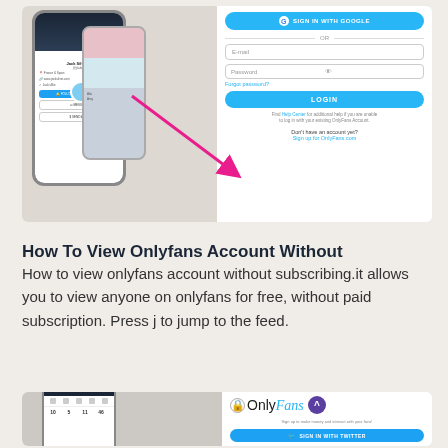[Figure (screenshot): OnlyFans profile screenshot on phone mockup (left) with arrow pointing to OnlyFans login page (right) showing Google sign-in, email/password fields, and sign up link]
How To View Onlyfans Account Without Subscribing.
How to view onlyfans account without subscribing.it allows you to view anyone on onlyfans for free, without paid subscription. Press j to jump to the feed.
[Figure (screenshot): Phone mockup showing OnlyFans app navigation bar with numbers, and OnlyFans logo with Twitter sign-in button on the right]